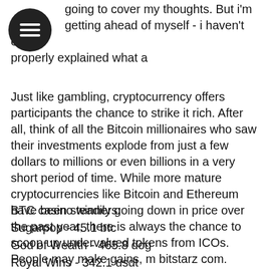going to cover my thoughts. But i'm getting ahead of myself - i haven't even properly explained what a
Just like gambling, cryptocurrency offers participants the chance to strike it rich. After all, think of all the Bitcoin millionaires who saw their investments explode from just a few dollars to millions or even billions in a very short period of time. While more mature cryptocurrencies like Bitcoin and Ethereum have been steadily going down in price over the past year, there is always the chance to scoop up undervalued tokens from ICOs. People may make gains, m bitstarz com.
BTC casino winners:
Sugarpop - 45.1 btc
God of Wealth - 465.8 dog
Royal Wins - 342.1 usdt
Aloha Cluster Pays - 480.4 usdt
Sweet Life 2 - 103.8 bch